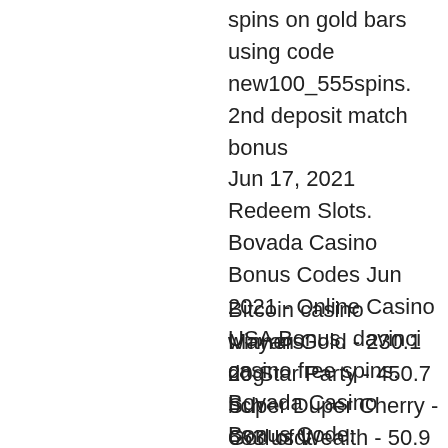spins on gold bars using code new100_555spins. 2nd deposit match bonus
Jun 17, 2021 Redeem Slots. Bovada Casino Bonus Codes Jun 2021 - Online Casino USA Bonus, davinci casino free spins. Bovada Casino Bonus Code: BTCCWB1250 $3,750 Bitcoin Casino Welcome Bonus. Better yet, Bovada lets you use the NEWWELCOME promo code up to three times, so you can claim as much as $3,000. Casino coupon code: CB2PAMPER49.
Bitcoin casino winners:
Mayan Gold - 230.1 dog
20 Star Party - 450.7 bch
Super Duper Cherry - 663 usdt
God of Wealth - 50.9 eth
Red Chilli - 465.8 ltc
Spin Party - 374.8 usdt